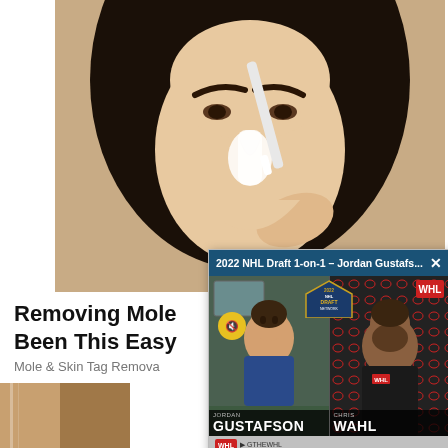[Figure (screenshot): A webpage screenshot showing two overlapping items: (1) A beauty/skincare video ad of a woman applying white cream to her nose with a brush, with text 'Removing Mole Has Been This Easy' and subtext 'Mole & Skin Tag Remova...'; (2) An overlapping video thumbnail popup labeled '2022 NHL Draft 1-on-1 – Jordan Gustafs...' showing two people in a split-screen video with name bars reading 'GUSTAFSON' and 'WAHL' with NHL Draft and WHL logos.]